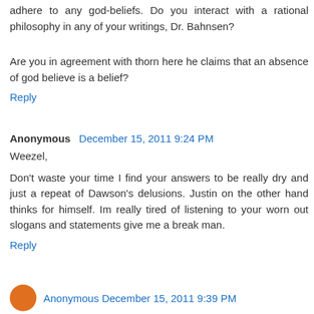adhere to any god-beliefs. Do you interact with a rational philosophy in any of your writings, Dr. Bahnsen?
Are you in agreement with thorn here he claims that an absence of god believe is a belief?
Reply
Anonymous  December 15, 2011 9:24 PM
Weezel,
Don't waste your time I find your answers to be really dry and just a repeat of Dawson's delusions. Justin on the other hand thinks for himself. Im really tired of listening to your worn out slogans and statements give me a break man.
Reply
Anonymous  December 15, 2011 9:39 PM